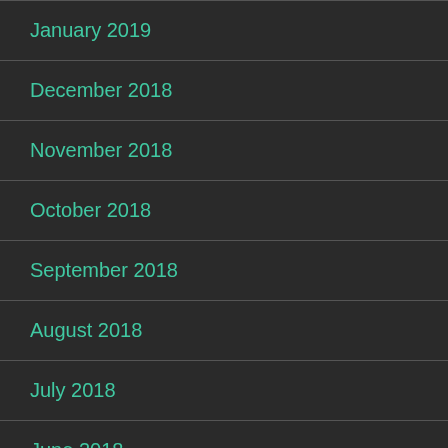January 2019
December 2018
November 2018
October 2018
September 2018
August 2018
July 2018
June 2018